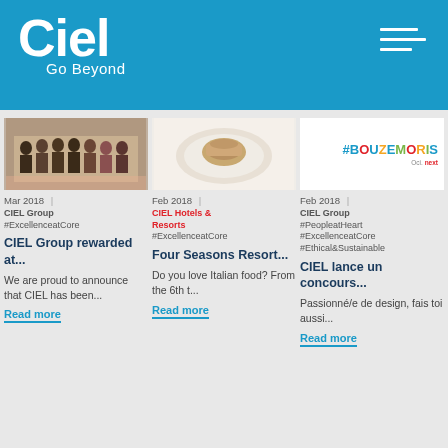Ciel Go Beyond
[Figure (photo): Group photo of CIEL award recipients standing in a row]
[Figure (photo): Food item on a white plate - Italian cuisine]
[Figure (photo): #BOUZEMORIS campaign logo in colorful letters]
Mar 2018 | CIEL Group #ExcellenceatCore
Feb 2018 | CIEL Hotels & Resorts #ExcellenceatCore
Feb 2018 | CIEL Group #PeopleatHeart #ExcellenceatCore #Ethical&Sustainable
CIEL Group rewarded at...
Four Seasons Resort...
CIEL lance un concours...
We are proud to announce that CIEL has been...
Do you love Italian food? From the 6th t...
Passionné/e de design, fais toi aussi...
Read more
Read more
Read more